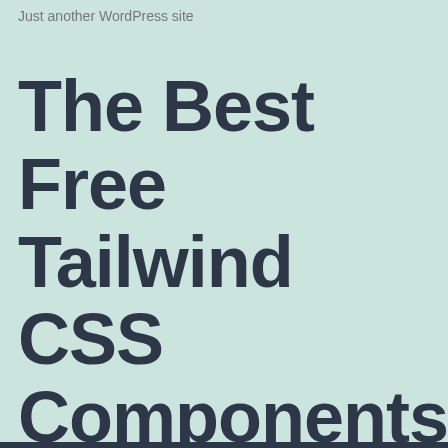Just another WordPress site
The Best Free Tailwind CSS Components For 2022